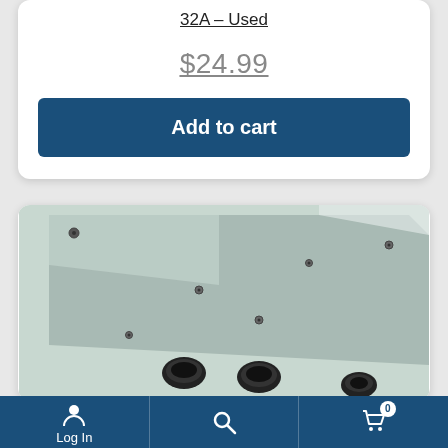32A – Used
$24.99
Add to cart
[Figure (photo): Close-up photo of a metal panel or enclosure, gray/silver in color, with several screws and black cable gland connectors visible on the surface and edge.]
Log In
Search icon
0 (cart)